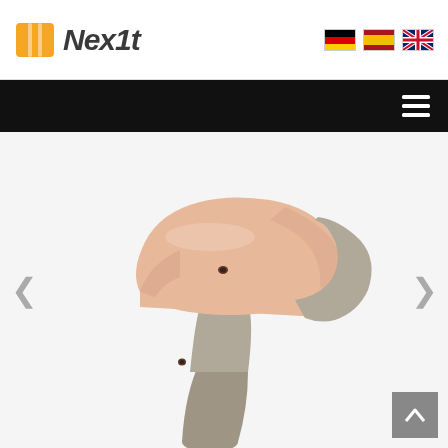Nexit logo with flag icons (German, Spanish, English)
[Figure (illustration): 3D render of a prosthetic knee/leg socket cover, skin-toned silicone sleeve over a grey prosthetic frame, shown at an angle with a bent knee joint, on white background]
[Figure (logo): Nexit logo: orange rectangular icon with vertical line and company name 'Nexit' in bold italic dark grey font]